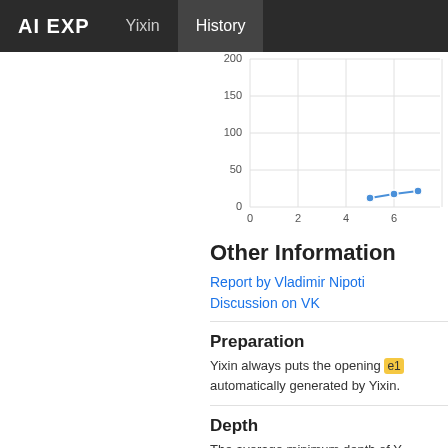AI EXP  Yixin  History
[Figure (line-chart): ]
Other Information
Report by Vladimir Nipoti
Discussion on VK
Preparation
Yixin always puts the opening e1 automatically generated by Yixin.
Depth
The average minimum depth of Y